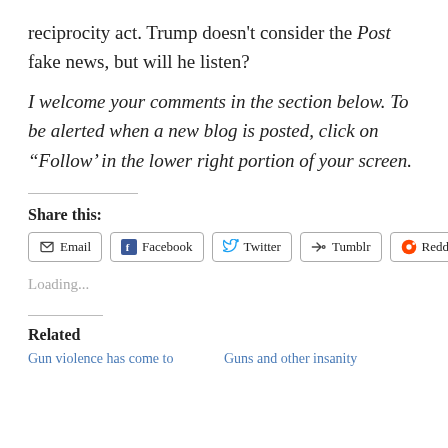reciprocity act. Trump doesn't consider the Post fake news, but will he listen?
I welcome your comments in the section below. To be alerted when a new blog is posted, click on “Follow’ in the lower right portion of your screen.
Share this:
Email  Facebook  Twitter  Tumblr  Reddit
Loading...
Related
Gun violence has come to
Guns and other insanity